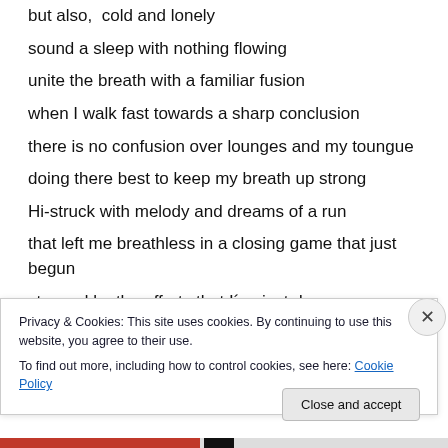but also,  cold and lonely
sound a sleep with nothing flowing
unite the breath with a familiar fusion
when I walk fast towards a sharp conclusion
there is no confusion over lounges and my toungue
doing there best to keep my breath up strong
Hi-struck with melody and dreams of a run
that left me breathless in a closing game that just begun
stunned by the efforts that I´ve just done
Privacy & Cookies: This site uses cookies. By continuing to use this website, you agree to their use. To find out more, including how to control cookies, see here: Cookie Policy